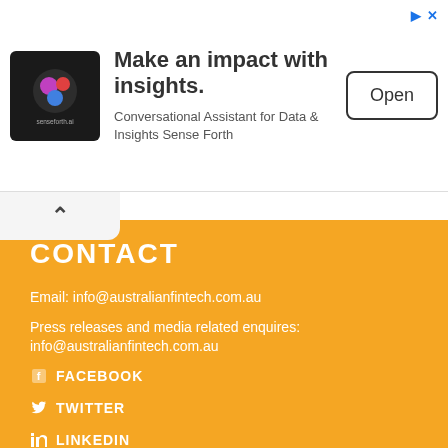[Figure (infographic): Advertisement banner for Sense Forth AI with logo, headline 'Make an impact with insights.', subtext 'Conversational Assistant for Data & Insights Sense Forth', and an 'Open' button]
CONTACT
Email: info@australianfintech.com.au
Press releases and media related enquires:
info@australianfintech.com.au
FACEBOOK
TWITTER
LINKEDIN
INSTAGRAM
MEDIUM